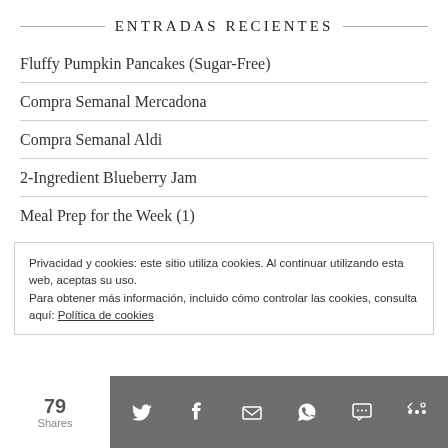ENTRADAS RECIENTES
Fluffy Pumpkin Pancakes (Sugar-Free)
Compra Semanal Mercadona
Compra Semanal Aldi
2-Ingredient Blueberry Jam
Meal Prep for the Week (1)
Privacidad y cookies: este sitio utiliza cookies. Al continuar utilizando esta web, aceptas su uso.
Para obtener más información, incluido cómo controlar las cookies, consulta aquí: Política de cookies
79 Shares — social share bar with Twitter, Facebook, Email, WhatsApp, SMS, More icons